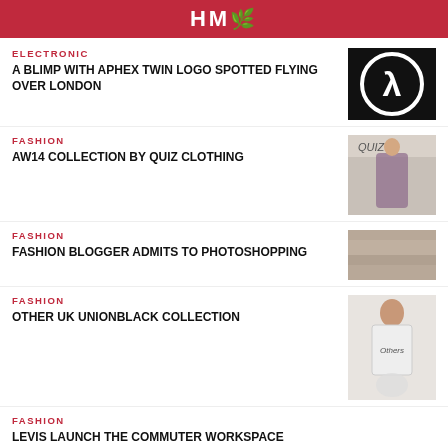HM
ELECTRONIC
A BLIMP WITH APHEX TWIN LOGO SPOTTED FLYING OVER LONDON
[Figure (photo): Aphex Twin logo — black circle with white lambda/person symbol on black background]
FASHION
AW14 COLLECTION BY QUIZ CLOTHING
[Figure (photo): Quiz clothing fashion photo — woman in floral dress with Quiz branding]
FASHION
FASHION BLOGGER ADMITS TO PHOTOSHOPPING
[Figure (photo): Blurred fashion photo]
FASHION
OTHER UK UNIONBLACK COLLECTION
[Figure (photo): Tattooed man wearing a white graphic tank top with roses design]
FASHION
LEVIS LAUNCH THE COMMUTER WORKSPACE